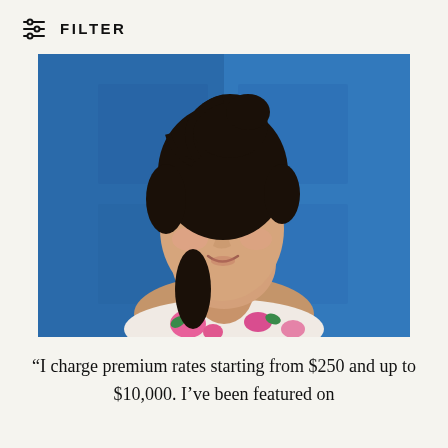FILTER
[Figure (photo): Portrait photograph of a young woman with dark hair up, wearing a floral top with pink flowers on white background, standing in front of a bright blue door/wall. She is smiling slightly and looking slightly to one side.]
“I charge premium rates starting from $250 and up to $10,000. I’ve been featured on